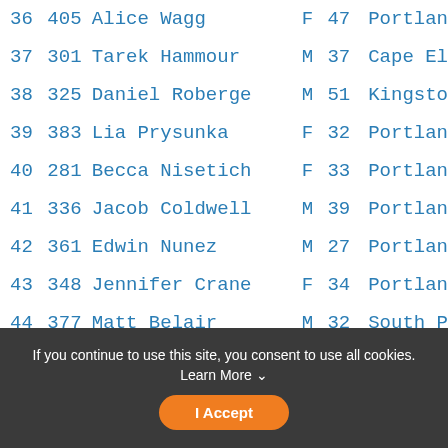| # | Bib | Name | Sex | Age | City |
| --- | --- | --- | --- | --- | --- |
| 36 | 405 | Alice Wagg | F | 47 | Portlan... |
| 37 | 301 | Tarek Hammour | M | 37 | Cape El... |
| 38 | 325 | Daniel Roberge | M | 51 | Kingsto... |
| 39 | 383 | Lia Prysunka | F | 32 | Portlan... |
| 40 | 281 | Becca Nisetich | F | 33 | Portlan... |
| 41 | 336 | Jacob Coldwell | M | 39 | Portlan... |
| 42 | 361 | Edwin Nunez | M | 27 | Portlan... |
| 43 | 348 | Jennifer Crane | F | 34 | Portlan... |
| 44 | 377 | Matt Belair | M | 32 | South P... |
| 45 | 392 | Sam Hurley | M | 25 | Falmout... |
| 46 | 323 | Lucille Benedict | F | 36 | Westbro... |
If you continue to use this site, you consent to use all cookies. Learn More